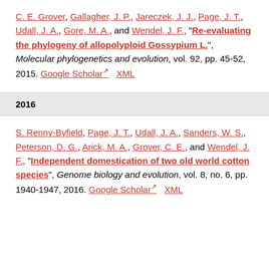C. E. Grover, Gallagher, J. P., Jareczek, J. J., Page, J. T., Udall, J. A., Gore, M. A., and Wendel, J. F., "Re-evaluating the phylogeny of allopolyploid Gossypium L.", Molecular phylogenetics and evolution, vol. 92, pp. 45-52, 2015. Google Scholar XML
2016
S. Renny-Byfield, Page, J. T., Udall, J. A., Sanders, W. S., Peterson, D. G., Arick, M. A., Grover, C. E., and Wendel, J. F., "Independent domestication of two old world cotton species", Genome biology and evolution, vol. 8, no. 6, pp. 1940-1947, 2016. Google Scholar XML